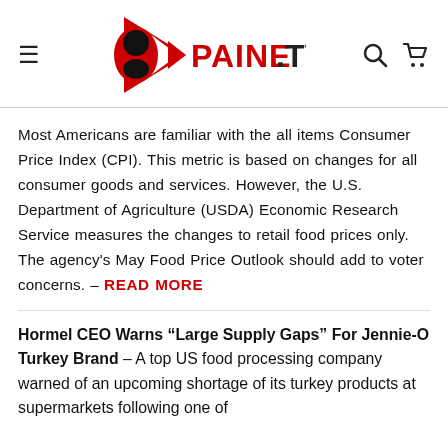PAINE.TV
Most Americans are familiar with the all items Consumer Price Index (CPI). This metric is based on changes for all consumer goods and services. However, the U.S. Department of Agriculture (USDA) Economic Research Service measures the changes to retail food prices only. The agency's May Food Price Outlook should add to voter concerns. – READ MORE
Hormel CEO Warns “Large Supply Gaps” For Jennie-O Turkey Brand – A top US food processing company warned of an upcoming shortage of its turkey products at supermarkets following one of